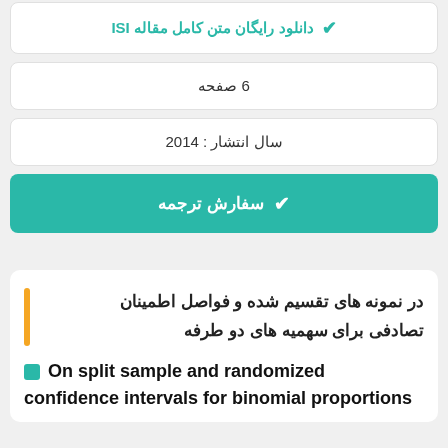دانلود رایگان متن کامل مقاله ISI
6 صفحه
سال انتشار : 2014
✔ سفارش ترجمه
در نمونه های تقسیم شده و فواصل اطمینان تصادفی برای سهمیه های دو طرفه
On split sample and randomized confidence intervals for binomial proportions